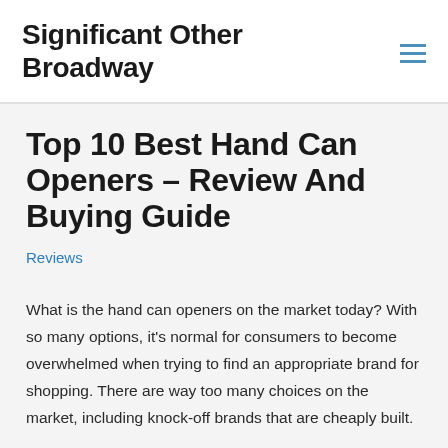Significant Other Broadway
Top 10 Best Hand Can Openers – Review And Buying Guide
Reviews
What is the hand can openers on the market today? With so many options, it's normal for consumers to become overwhelmed when trying to find an appropriate brand for shopping. There are way too many choices on the market, including knock-off brands that are cheaply built.